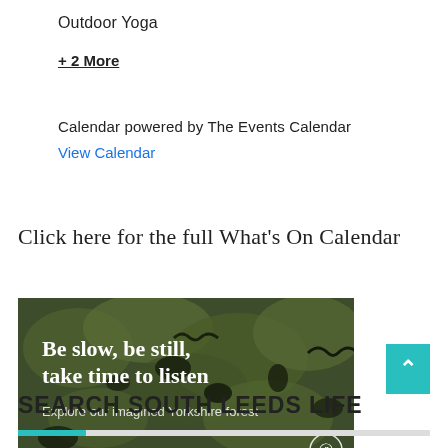Outdoor Yoga
+ 2 More
Calendar powered by The Events Calendar
View Calendar
Click here for the full What's On Calendar
[Figure (photo): British Library advertisement banner with forest aerial view and text: 'Be slow, be still, take time to listen. Explore our imagined Yorkshire forest. BRITISH LIBRARY']
SEARCH SOUTH LEEDS LIFE